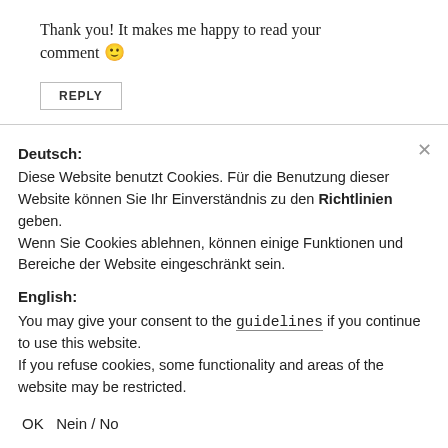Thank you! It makes me happy to read your comment 🙂
REPLY
Deutsch:
Diese Website benutzt Cookies. Für die Benutzung dieser Website können Sie Ihr Einverständnis zu den Richtlinien geben.
Wenn Sie Cookies ablehnen, können einige Funktionen und Bereiche der Website eingeschränkt sein.
English:
You may give your consent to the guidelines if you continue to use this website.
If you refuse cookies, some functionality and areas of the website may be restricted.
OK  Nein / No